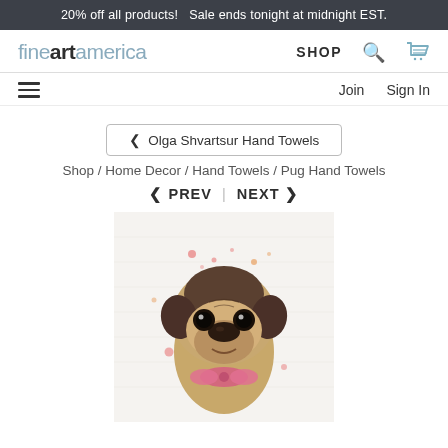20% off all products!   Sale ends tonight at midnight EST.
[Figure (logo): Fine Art America logo with 'fine' in light blue/gray and 'art' in bold dark text, followed by 'america' in light color]
SHOP  [search icon]  [cart icon]
[hamburger menu]  Join  Sign In
< Olga Shvartsur Hand Towels
Shop / Home Decor / Hand Towels / Pug Hand Towels
< PREV  |  NEXT >
[Figure (photo): A hand towel product showing a watercolor illustration of a pug puppy with a pink bow, with colorful paint splatter dots on a light background]